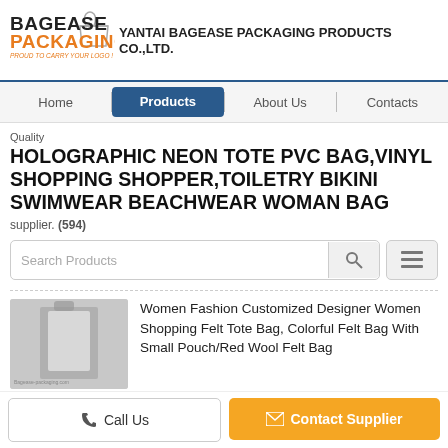YANTAI BAGEASE PACKAGING PRODUCTS CO.,LTD.
Quality
HOLOGRAPHIC NEON TOTE PVC BAG,VINYL SHOPPING SHOPPER,TOILETRY BIKINI SWIMWEAR BEACHWEAR WOMAN BAG
supplier. (594)
Search Products
Women Fashion Customized Designer Women Shopping Felt Tote Bag, Colorful Felt Bag With Small Pouch/Red Wool Felt Bag
Cosmetic Bag, Tote Bag, Shopping Bag, Cooler Bag, School Bag, Laptop Bag, Souvenir Bag, Pencil Bag, Wallet